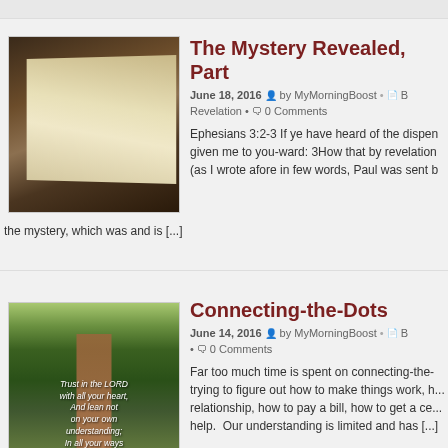The Mystery Revealed, Part
June 18, 2016  by MyMorningBoost  •  Revelation  •  0 Comments
Ephesians 3:2-3 If ye have heard of the dispensation given me to you-ward: 3How that by revelation (as I wrote afore in few words, Paul was sent b... the mystery, which was and is [...]
[Figure (photo): Open Bible resting on a wooden church pew]
Connecting-the-Dots
June 14, 2016  by MyMorningBoost  •  0 Comments
Far too much time is spent on connecting-the- trying to figure out how to make things work, h... relationship, how to pay a bill, how to get a ce... help.  Our understanding is limited and has [...]
[Figure (photo): Wooden path through lush green garden with Bible verse overlay: Trust in the LORD with all your heart, And lean not on your own understanding; In all your ways]